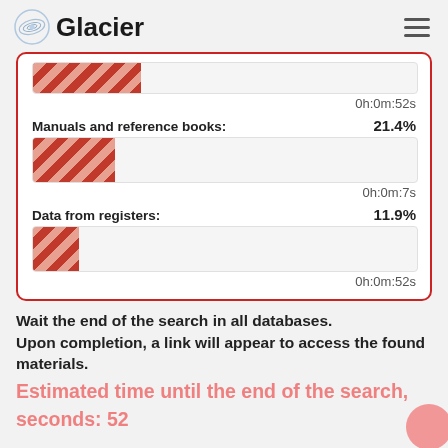Glacier
[Figure (infographic): Database search progress bars showing Manuals and reference books at 21.4% with 0h:0m:7s, Data from registers at 11.9% with 0h:0m:52s, and a partial top bar with 0h:0m:52s. All bars use red diagonal stripe fill.]
Wait the end of the search in all databases.
Upon completion, a link will appear to access the found materials.
Estimated time until the end of the search, seconds: 52